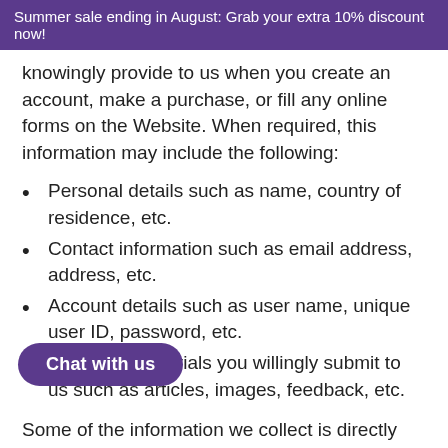Summer sale ending in August: Grab your extra 10% discount now!
knowingly provide to us when you create an account, make a purchase, or fill any online forms on the Website. When required, this information may include the following:
Personal details such as name, country of residence, etc.
Contact information such as email address, address, etc.
Account details such as user name, unique user ID, password, etc.
Any other materials you willingly submit to us such as articles, images, feedback, etc.
Some of the information we collect is directly from you via our Website and Services. However, we may also collect Personal Information about you from other sources such as public databases and our